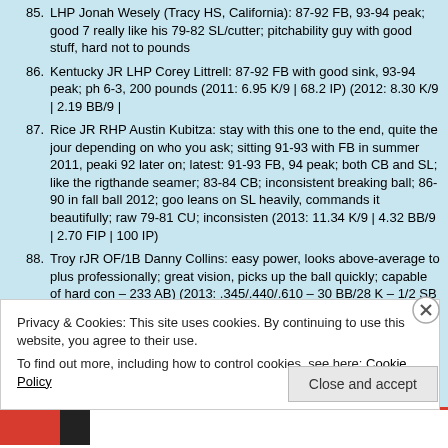85. LHP Jonah Wesely (Tracy HS, California): 87-92 FB, 93-94 peak; good 7 really like his 79-82 SL/cutter; pitchability guy with good stuff, hard not to pounds
86. Kentucky JR LHP Corey Littrell: 87-92 FB with good sink, 93-94 peak; ph 6-3, 200 pounds (2011: 6.95 K/9 | 68.2 IP) (2012: 8.30 K/9 | 2.19 BB/9 |
87. Rice JR RHP Austin Kubitza: stay with this one to the end, quite the jour depending on who you ask; sitting 91-93 with FB in summer 2011, peaki 92 later on; latest: 91-93 FB, 94 peak; both CB and SL; like the rigthande seamer; 83-84 CB; inconsistent breaking ball; 86-90 in fall ball 2012; goo leans on SL heavily, commands it beautifully; raw 79-81 CU; inconsisten (2013: 11.34 K/9 | 4.32 BB/9 | 2.70 FIP | 100 IP)
88. Troy rJR OF/1B Danny Collins: easy power, looks above-average to plus professionally; great vision, picks up the ball quickly; capable of hard con – 233 AB) (2013: .345/.440/.610 – 30 BB/28 K – 1/2 SB – 223 AB)
89. Princeton JR OF/2B Alec Keller: really strong hit tool; plus bat speed; gre needs reps; average at 2B; think he's being missed on by many; 6-2 18
Privacy & Cookies: This site uses cookies. By continuing to use this website, you agree to their use.
To find out more, including how to control cookies, see here: Cookie Policy
Close and accept